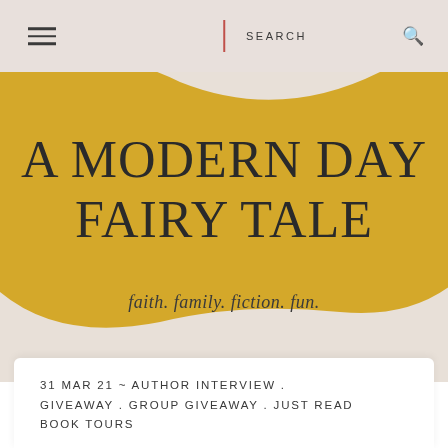≡  |  SEARCH  🔍
[Figure (illustration): Gold organic blob shape used as background decoration behind the blog title text]
A MODERN DAY FAIRY TALE
faith. family. fiction. fun.
31 MAR 21 ~ AUTHOR INTERVIEW . GIVEAWAY . GROUP GIVEAWAY . JUST READ BOOK TOURS